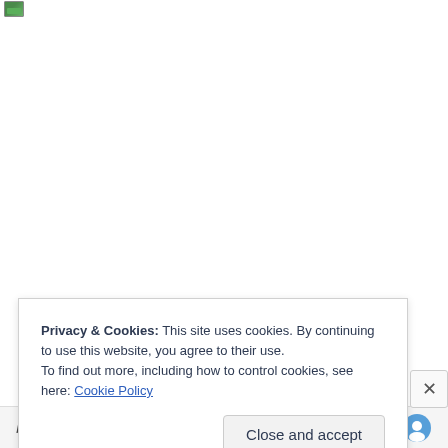[Figure (screenshot): Top portion of a webpage with a small green image icon in the upper left corner and a mostly blank white area below it]
Privacy & Cookies: This site uses cookies. By continuing to use this website, you agree to their use.
To find out more, including how to control cookies, see here: Cookie Policy
Close and accept
Post on the go.